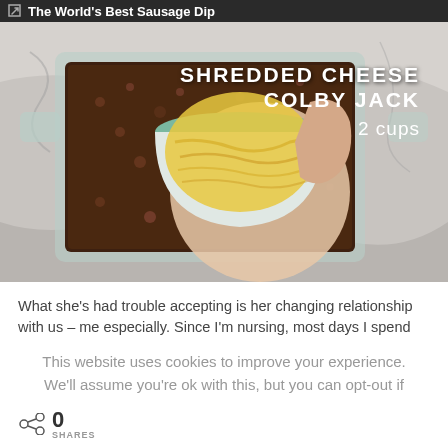The World's Best Sausage Dip
[Figure (photo): A glass baking dish filled with a sausage and bean mixture, with a hand holding a small bowl of shredded Colby Jack cheese over it, on a marble surface. Overlay text reads: SHREDDED CHEESE COLBY JACK 2 cups]
What she's had trouble accepting is her changing relationship with us – me especially. Since I'm nursing, most days I spend
This website uses cookies to improve your experience. We'll assume you're ok with this, but you can opt-out if
0
SHARES